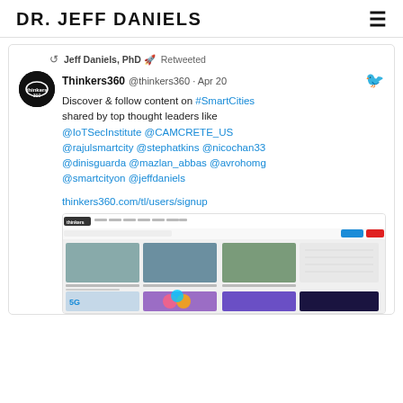DR. JEFF DANIELS
[Figure (screenshot): Screenshot of a tweet from Thinkers360 retweeted by Jeff Daniels PhD. Tweet reads: 'Discover & follow content on #SmartCities shared by top thought leaders like @IoTSecInstitute @CAMCRETE_US @rajulsmartcity @stephatkins @nicochan33 @dinisguarda @mazlan_abbas @avrohomg @smartcityon @jeffdaniels thinkers360.com/tl/users/signup'. Includes a screenshot of the Thinkers360 website.]